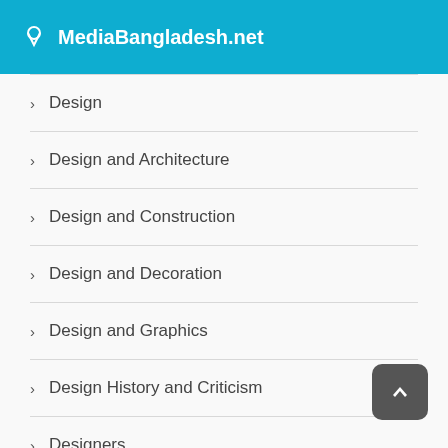MediaBangladesh.net
Design
Design and Architecture
Design and Construction
Design and Decoration
Design and Graphics
Design History and Criticism
Designers
Desk Accessories and Workspace Organizers
Desk Lamps